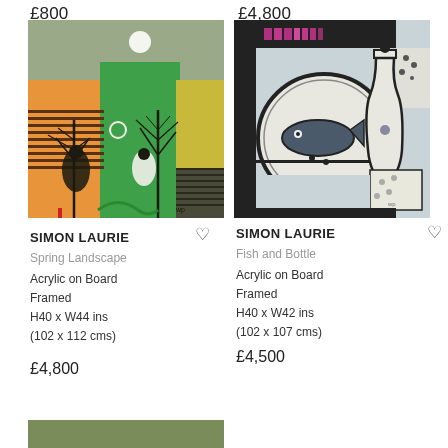£800
£4,800
[Figure (illustration): Painting: Spring Landscape by Simon Laurie. Abstract landscape with green trees, orange and green background, white moon, black branch silhouettes on acrylic on board.]
[Figure (illustration): Painting: Fish and Bottle by Simon Laurie. Abstract still life with fish on plate, bottle, geometric shapes in muted blue, green, black outlines on acrylic on board.]
SIMON LAURIE
Spring Landscape
Acrylic on Board
Framed
H40 x W44 ins
(102 x 112 cms)
£4,800
SIMON LAURIE
Fish and Bottle
Acrylic on Board
Framed
H40 x W42 ins
(102 x 107 cms)
£4,500
[Figure (illustration): Partial view of another painting at the bottom of the page, showing an olive/khaki green color strip.]